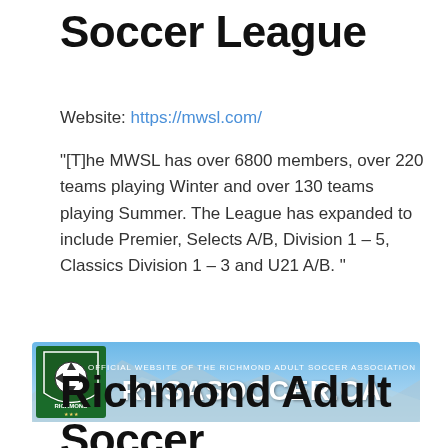Soccer League
Website: https://mwsl.com/
“[T]he MWSL has over 6800 members, over 220 teams playing Winter and over 130 teams playing Summer. The League has expanded to include Premier, Selects A/B, Division 1 – 5, Classics Division 1 – 3 and U21 A/B. ”
[Figure (illustration): Banner for RASASOCCER.CA - Official Website of the Richmond Adult Soccer Association, featuring a shield logo and mountain background]
Richmond Adult Soccer